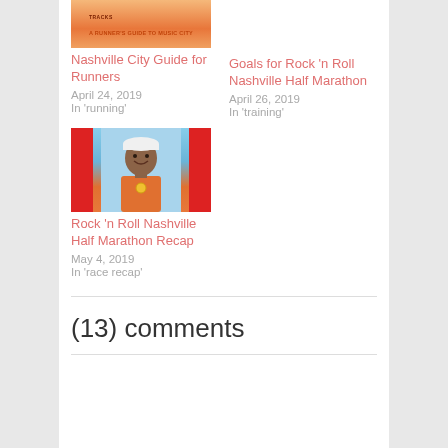[Figure (photo): Nashville city guide book cover with orange/peach tone and text 'A Runner's Guide to Music City']
Nashville City Guide for Runners
April 24, 2019
In 'running'
Goals for Rock 'n Roll Nashville Half Marathon
April 26, 2019
In 'training'
[Figure (photo): Smiling runner wearing white cap and orange race bib at Rock 'n Roll Nashville Half Marathon, with red banners on sides]
Rock 'n Roll Nashville Half Marathon Recap
May 4, 2019
In 'race recap'
(13) comments